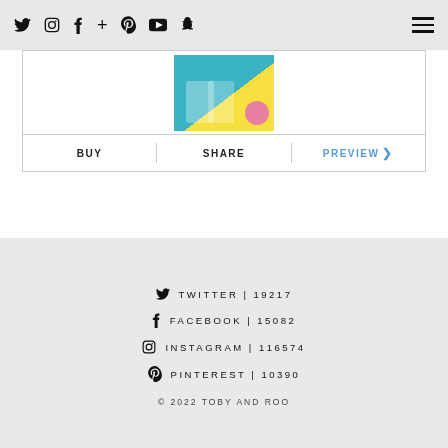Social icons navigation bar with Twitter, Instagram, Facebook, Google+, Pinterest, YouTube, Snapchat icons and hamburger menu
[Figure (screenshot): Book cover image showing two people holding a book with teal, yellow background and pink badge]
BUY | SHARE | PREVIEW >
TWITTER | 19217
FACEBOOK | 15082
INSTAGRAM | 116574
PINTEREST | 10390
© 2022 TOBY AND ROO